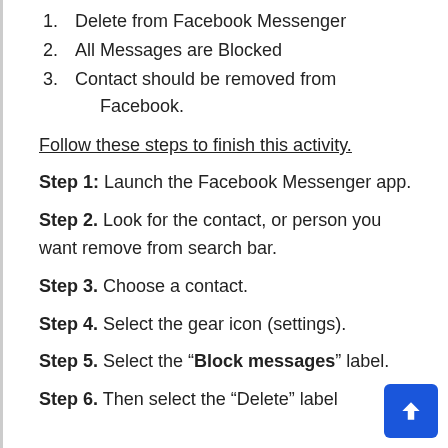1. Delete from Facebook Messenger
2. All Messages are Blocked
3. Contact should be removed from Facebook.
Follow these steps to finish this activity.
Step 1: Launch the Facebook Messenger app.
Step 2. Look for the contact, or person you want remove from search bar.
Step 3. Choose a contact.
Step 4. Select the gear icon (settings).
Step 5. Select the “Block messages” label.
Step 6. Then select the “Delete” label